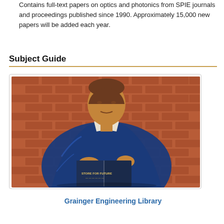Contains full-text papers on optics and photonics from SPIE journals and proceedings published since 1990. Approximately 15,000 new papers will be added each year.
Subject Guide
[Figure (photo): A bronze statue of a student reading a book, leaning against a red brick wall. The statue is wearing a blue jacket. A scroll-to-top button (rounded square with upward chevron) is overlaid in the upper right corner of the image.]
Grainger Engineering Library